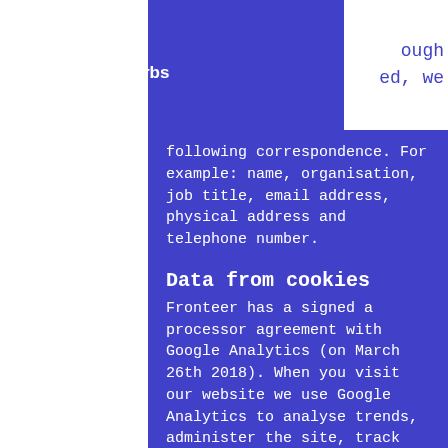Coding the Curbs
following correspondence. For example: name, organisation, job title, email address, physical address and telephone number.
Data from cookies
Fronteer has a signed a processor agreement with Google Analytics (on March 26th 2018). When you visit our website we use Google Analytics to analyse trends, administer the site, track users' movements around the site. Google Analytics retains data before automatically deleting it after 14 months. Google Analytics will not share visitors' data with third parties or use data for advertisement purposes. Fronteer has anonymised visitors' user